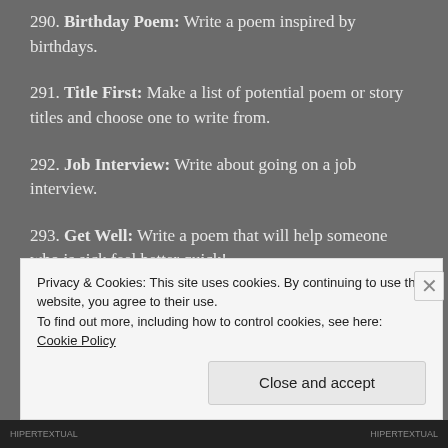290. Birthday Poem: Write a poem inspired by birthdays.
291. Title First: Make a list of potential poem or story titles and choose one to write from.
292. Job Interview: Write about going on a job interview.
293. Get Well: Write a poem that will help someone who is sick feel better quick!
Privacy & Cookies: This site uses cookies. By continuing to use this website, you agree to their use.
To find out more, including how to control cookies, see here: Cookie Policy
Close and accept